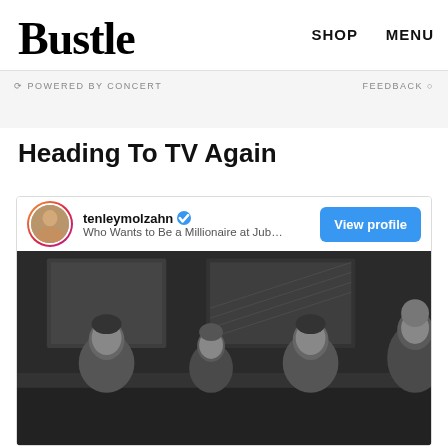Bustle | SHOP | MENU
⟳ POWERED BY CONCERT | FEEDBACK ○
Heading To TV Again
[Figure (screenshot): Instagram embed card showing tenleymolzahn profile with verified badge, subtitle 'Who Wants to Be a Millionaire at Jubilee Th...' and a View profile button. Below is a black and white photograph of four people sitting on a couch/sofa, two men and a woman in the center, with another person on the far right, artworks visible on the wall behind them.]